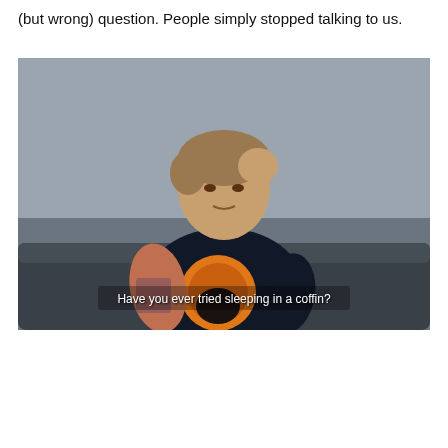(but wrong) question. People simply stopped talking to us.
[Figure (screenshot): Video screenshot of a woman with short hair sitting on a dark couch wearing a black graphic t-shirt with tattoos visible on her arm. Subtitle reads: Have you ever tried sleeping in a coffin?]
[Figure (screenshot): Advertisement thumbnail for EPOS | SENNHEISER GSP 500 Headset - Unboxing and First Look video, with green text 'UNBOXING AND FIRST LOOK' and a play button.]
EPOS | SENNHEISER GSP 500 Headset – Unboxing and First Look
[Figure (screenshot): BitLife mobile game advertisement with dark blue background, logo, and text 'NOW WITH GOD MODE' in blue box with lightning bolt graphic and hand/thumbs up illustrations.]